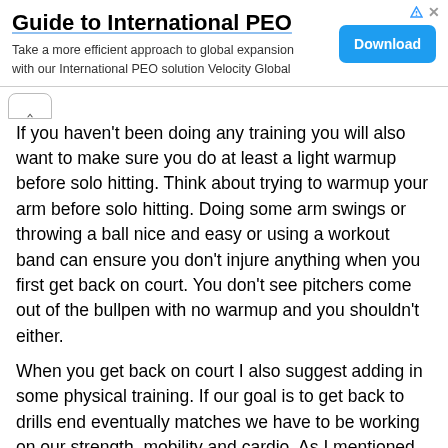[Figure (infographic): Advertisement banner for 'Guide to International PEO' with a Download button and ad icons in top right corner]
If you haven't been doing any training you will also want to make sure you do at least a light warmup before solo hitting. Think about trying to warmup your arm before solo hitting. Doing some arm swings or throwing a ball nice and easy or using a workout band can ensure you don't injure anything when you first get back on court. You don't see pitchers come out of the bullpen with no warmup and you shouldn't either.
When you get back on court I also suggest adding in some physical training. If our goal is to get back to drills end eventually matches we have to be working on our strength, mobility and cardio. As I mentioned in my interview on The In Squash Podcast last week, most people need to improve their core and lower body strength so they can get into the correct hitting posture. Fyi the episode is set to come out